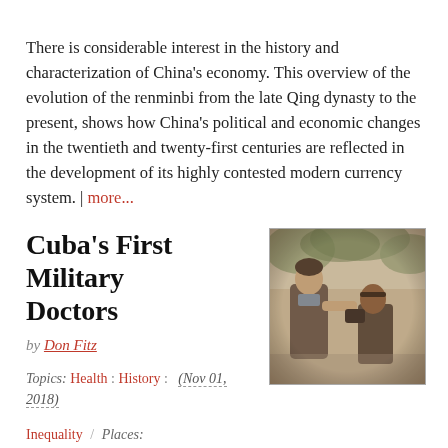There is considerable interest in the history and characterization of China's economy. This overview of the evolution of the renminbi from the late Qing dynasty to the present, shows how China's political and economic changes in the twentieth and twenty-first centuries are reflected in the development of its highly contested modern currency system. | more...
Cuba's First Military Doctors
[Figure (photo): Sepia-toned photograph of a man (doctor) examining or treating another person outdoors, with foliage in the background.]
by Don Fitz
Topics: Health : History : Inequality / Places: (Nov 01, 2018)
Americas : Cuba
In the 1960s and the context of mushrooming popular movements across the globe, the brutality of U.S. imperialism, the unreliability of the Soviet Union as an